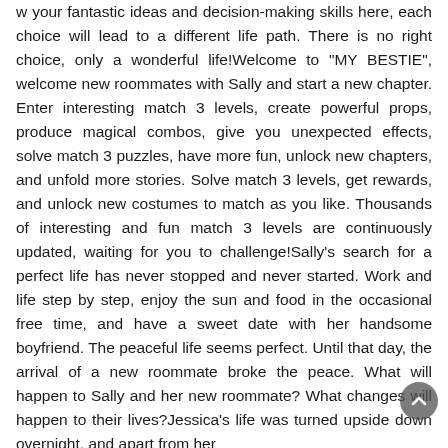w your fantastic ideas and decision-making skills here, each choice will lead to a different life path. There is no right choice, only a wonderful life!Welcome to "MY BESTIE", welcome new roommates with Sally and start a new chapter. Enter interesting match 3 levels, create powerful props, produce magical combos, give you unexpected effects, solve match 3 puzzles, have more fun, unlock new chapters, and unfold more stories. Solve match 3 levels, get rewards, and unlock new costumes to match as you like. Thousands of interesting and fun match 3 levels are continuously updated, waiting for you to challenge!Sally's search for a perfect life has never stopped and never started. Work and life step by step, enjoy the sun and food in the occasional free time, and have a sweet date with her handsome boyfriend. The peaceful life seems perfect. Until that day, the arrival of a new roommate broke the peace. What will happen to Sally and her new roommate? What changes will happen to their lives?Jessica's life was turned upside down overnight, and apart from her